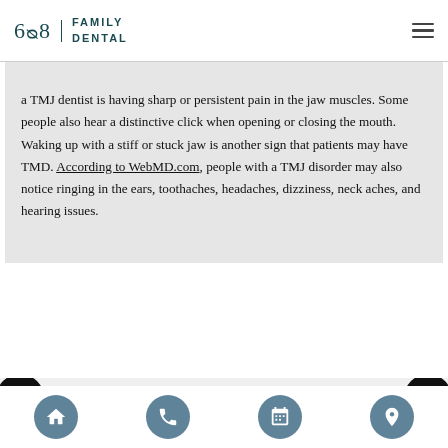608 Family Dental
a TMJ dentist is having sharp or persistent pain in the jaw muscles. Some people also hear a distinctive click when opening or closing the mouth. Waking up with a stiff or stuck jaw is another sign that patients may have TMD. According to WebMD.com, people with a TMJ disorder may also notice ringing in the ears, toothaches, headaches, dizziness, neck aches, and hearing issues.
[Figure (screenshot): Bottom section showing partial text 'Quality Dental' and navigation bar with home, phone, calendar, and location icons on circular buttons. Accessibility and globe icons on black circles at sides.]